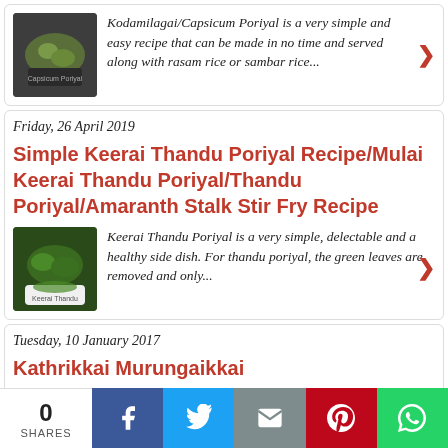[Figure (photo): Thumbnail photo of Kodamilagai/Capsicum Poriyal dish in a bowl]
Kodamilagai/Capsicum Poriyal is a very simple and easy recipe that can be made in no time and served along with rasam rice or sambar rice...
Friday, 26 April 2019
Simple Keerai Thandu Poriyal Recipe/Mulai Keerai Thandu Poriyal/Thandu Poriyal/Amaranth Stalk Stir Fry Recipe
[Figure (photo): Thumbnail photo of Keerai Thandu Poriyal dish in a bowl]
Keerai Thandu Poriyal is a very simple, delectable and a healthy side dish. For thandu poriyal, the green leaves are removed and only...
Tuesday, 10 January 2017
Kathrikkai Murungaikkai